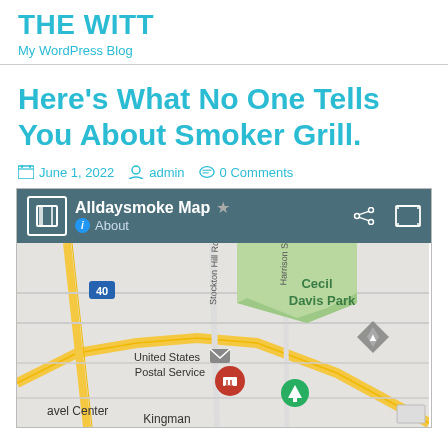THE WITT
My WordPress Blog
Here's What No One Tells You About Smoker Grill.
June 1, 2022  admin  0 Comments
[Figure (map): Google Maps embed titled 'Alldaysmoke Map' showing an area with United States Postal Service, Cecil Davis Park, and Kingman labels visible. The map has a teal/dark header bar with share and expand icons.]